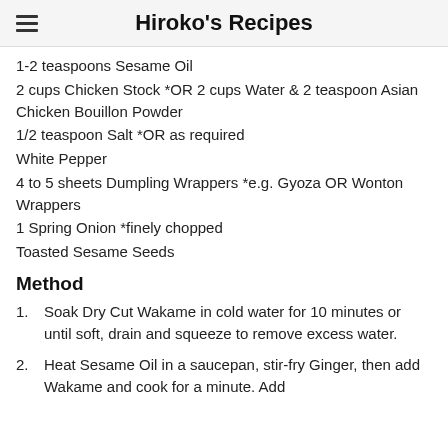Hiroko's Recipes
1-2 teaspoons Sesame Oil
2 cups Chicken Stock *OR 2 cups Water & 2 teaspoon Asian Chicken Bouillon Powder
1/2 teaspoon Salt *OR as required
White Pepper
4 to 5 sheets Dumpling Wrappers *e.g. Gyoza OR Wonton Wrappers
1 Spring Onion *finely chopped
Toasted Sesame Seeds
Method
1. Soak Dry Cut Wakame in cold water for 10 minutes or until soft, drain and squeeze to remove excess water.
2. Heat Sesame Oil in a saucepan, stir-fry Ginger, then add Wakame and cook for a minute. Add